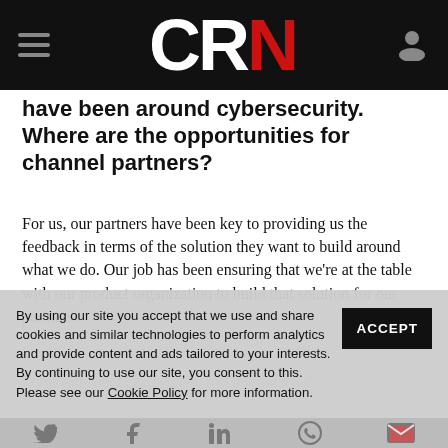CRN
have been around cybersecurity. Where are the opportunities for channel partners?
For us, our partners have been key to providing us the feedback in terms of the solution they want to build around what we do. Our job has been ensuring that we're at the table with our product organization to build that solution for our partners.
From a channel perspective, the solutions we're...
By using our site you accept that we use and share cookies and similar technologies to perform analytics and provide content and ads tailored to your interests. By continuing to use our site, you consent to this. Please see our Cookie Policy for more information.